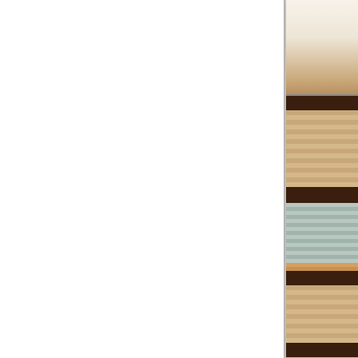[Figure (photo): Left portion shows a blank white document page with light gray border/shadow on the right edge. Right portion shows a partial view of what appears to be a photo strip: top section shows a cream/beige toned image, middle section shows stacked shelving or cabinet units with horizontal ribbed/slatted panels in brown wood tones and lighter tones, bottom section shows a dark teal/navy colored image. The photos are cropped at the right edge of the frame.]